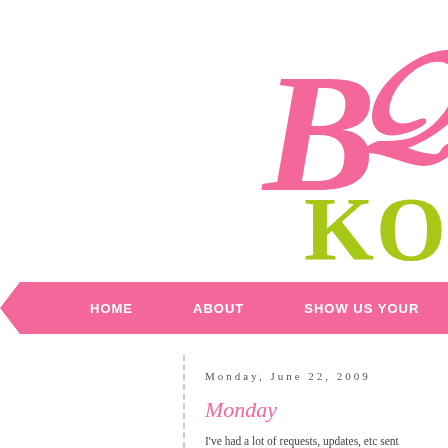[Figure (logo): Partial view of a decorative script logo in pink color, partially cropped on the right side]
KO
HOME   ABOUT   SHOW US YOUR
Monday, June 22, 2009
Monday
I've had a lot of requests, updates, etc sent